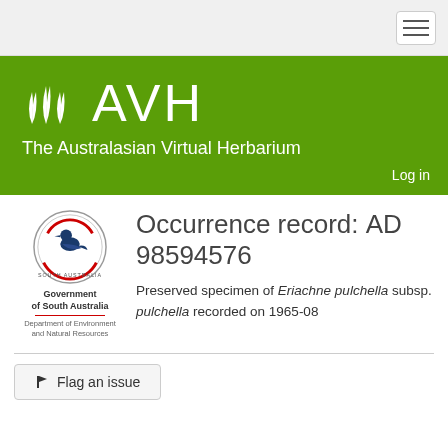AVH — The Australasian Virtual Herbarium
Occurrence record: AD 98594576
Preserved specimen of Eriachne pulchella subsp. pulchella recorded on 1965-08
Flag an issue